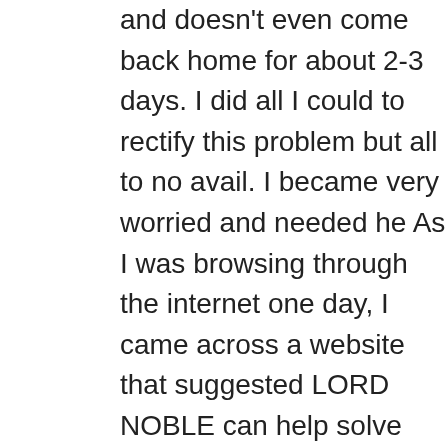and doesn't even come back home for about 2-3 days. I did all I could to rectify this problem but all to no avail. I became very worried and needed help. As I was browsing through the internet one day, I came across a website that suggested LORD NOBLE can help solve marital problems, restore broken relationships and so on. So, I felt I should give him a try. I contacted him and told him my problems and he told me what to do and i did it and he did a spell for me. 48 hours later, my husband came to me and apologized for the wrongs he did and promise never to do it again. Ever since then everything has returned back to normal. I and my family are living together happily again. LORD NOBLE is the best online spell caster that is